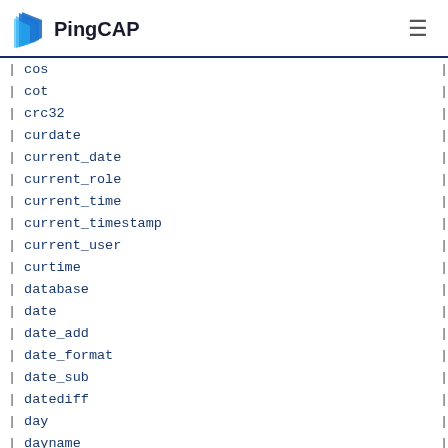PingCAP
| function |
| --- |
| cos |
| cot |
| crc32 |
| curdate |
| current_date |
| current_role |
| current_time |
| current_timestamp |
| current_user |
| curtime |
| database |
| date |
| date_add |
| date_format |
| date_sub |
| datediff |
| day |
| dayname |
| dayofmonth |